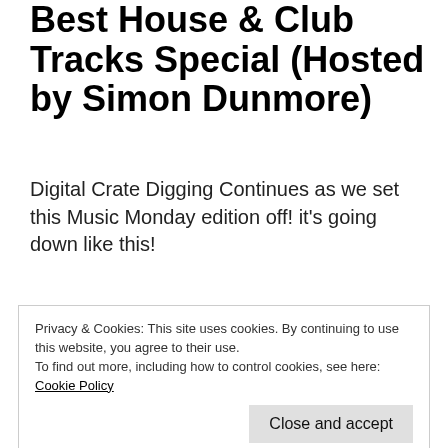Best House & Club Tracks Special (Hosted by Simon Dunmore)
Digital Crate Digging Continues as we set this Music Monday edition off! it's going down like this!
Back after a brief hiatus, the good music? we'll play this plus we'll drop the good word; it's going down like this!
Privacy & Cookies: This site uses cookies. By continuing to use this website, you agree to their use.
To find out more, including how to control cookies, see here: Cookie Policy
unemployment offered by the Feds due to the